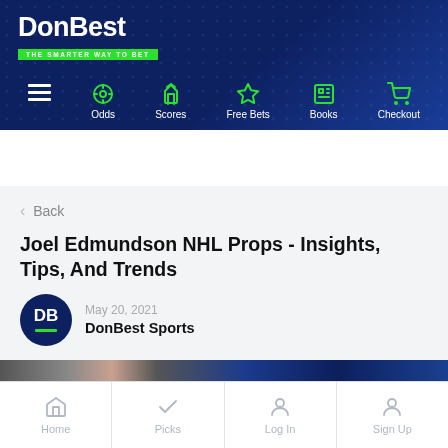DonBest - THE SMARTER WAY TO BET
[Figure (screenshot): DonBest website navigation bar with icons for Odds, Scores, Free Bets, Books, Checkout and hamburger menu]
< Back
Joel Edmundson NHL Props - Insights, Tips, And Trends
May 20, 2021
DonBest Sports
[Figure (photo): Partial image strip showing what appears to be a hockey scene]
Home | Picks | Log In | Sign Up